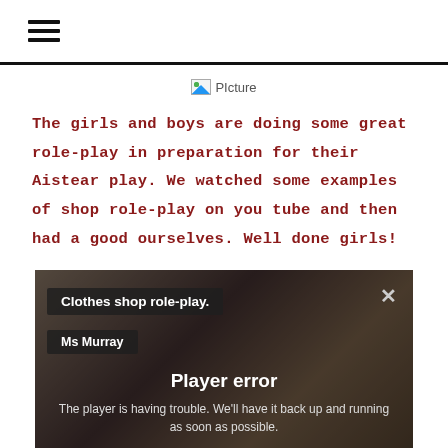☰ (hamburger menu)
[Figure (photo): Broken image placeholder labeled 'PIcture']
The girls and boys are doing some great role-play in preparation for their Aistear play. We watched some examples of shop role-play on you tube and then had a good ourselves. Well done girls!
[Figure (screenshot): Video player screenshot showing a classroom with children. Overlay reads: Title: 'Clothes shop role-play.' Author: 'Ms Murray'. Error message: 'Player error — The player is having trouble. We'll have it back up and running as soon as possible.']